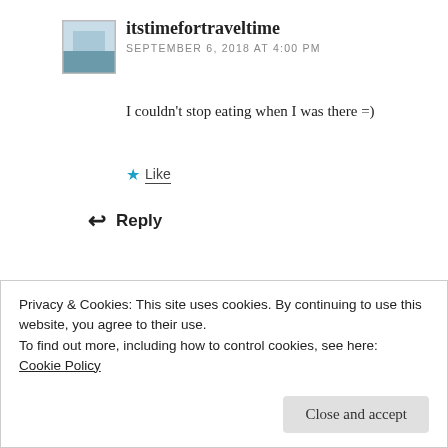[Figure (photo): Small avatar thumbnail showing a landscape/travel photo with a border]
itstimefortraveltime
SEPTEMBER 6, 2018 AT 4:00 PM
I couldn't stop eating when I was there =)
★ Like
↩ Reply
[Figure (photo): Avatar photo of a woman wearing a blue knit hat and sunglasses]
acraftymix
SEPTEMBER 19, 2018 AT 2:59 PM
Privacy & Cookies: This site uses cookies. By continuing to use this website, you agree to their use.
To find out more, including how to control cookies, see here:
Cookie Policy
Close and accept
feed my soul 😉